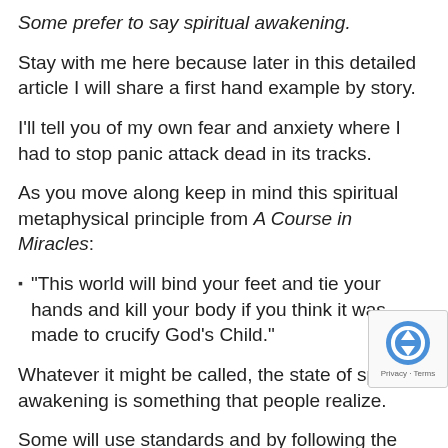Some prefer to say spiritual awakening.
Stay with me here because later in this detailed article I will share a first hand example by story.
I'll tell you of my own fear and anxiety where I had to stop panic attack dead in its tracks.
As you move along keep in mind this spiritual metaphysical principle from A Course in Miracles:
“This world will bind your feet and tie your hands and kill your body if you think it was made to crucify God’s Child.”
Whatever it might be called, the state of spiritual awakening is something that people realize.
Some will use standards and by following the